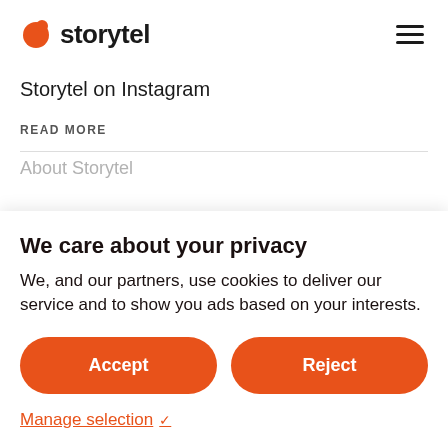storytel
Storytel on Instagram
READ MORE
About Storytel
We care about your privacy
We, and our partners, use cookies to deliver our service and to show you ads based on your interests.
Accept
Reject
Manage selection